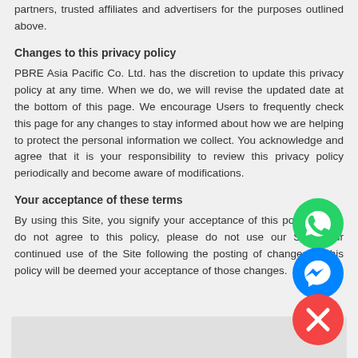partners, trusted affiliates and advertisers for the purposes outlined above.
Changes to this privacy policy
PBRE Asia Pacific Co. Ltd. has the discretion to update this privacy policy at any time. When we do, we will revise the updated date at the bottom of this page. We encourage Users to frequently check this page for any changes to stay informed about how we are helping to protect the personal information we collect. You acknowledge and agree that it is your responsibility to review this privacy policy periodically and become aware of modifications.
Your acceptance of these terms
By using this Site, you signify your acceptance of this policy. If you do not agree to this policy, please do not use our Site. Your continued use of the Site following the posting of changes to this policy will be deemed your acceptance of those changes.
[Figure (other): Three floating circular buttons: green WhatsApp button, blue Facebook Messenger button, red close (X) button]
[Figure (other): Gray box at the bottom of the page, partially visible]